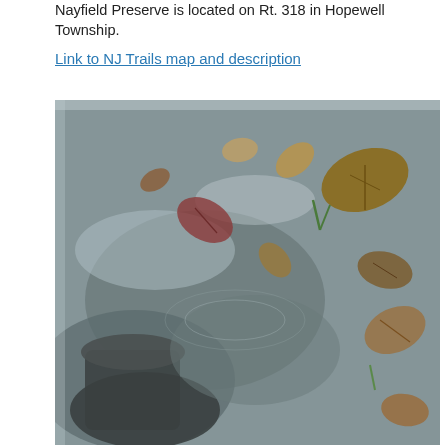Nayfield Preserve is located on Rt. 318 in Hopewell Township.
Link to NJ Trails map and description
[Figure (photo): Close-up photograph of a boot stepping in a muddy puddle surrounded by fallen autumn leaves on wet ground]